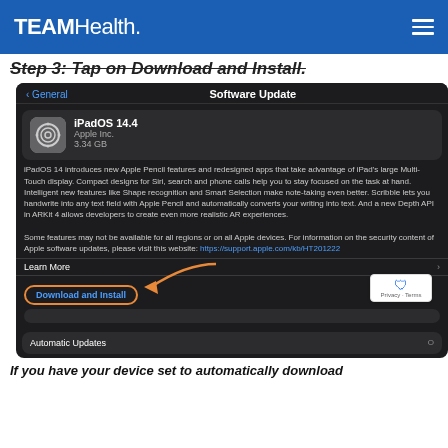TEAMHealth.
Step 3: Tap on Download and Install.
[Figure (screenshot): iPad Software Update screen showing iPadOS 14.4 by Apple Inc., 3.34 GB. Description of iPadOS 14 features. Download and Install button highlighted with orange arrow pointing to it. Automatic Updates row visible at bottom. reCAPTCHA badge in lower right corner.]
If you have your device set to automatically download